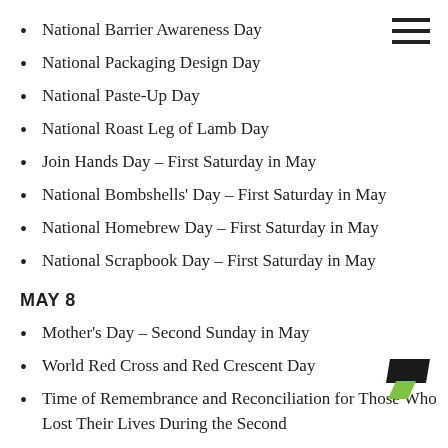National Barrier Awareness Day
National Packaging Design Day
National Paste-Up Day
National Roast Leg of Lamb Day
Join Hands Day – First Saturday in May
National Bombshells' Day – First Saturday in May
National Homebrew Day – First Saturday in May
National Scrapbook Day – First Saturday in May
MAY 8
Mother's Day – Second Sunday in May
World Red Cross and Red Crescent Day
Time of Remembrance and Reconciliation for Those Who Lost Their Lives During the Second